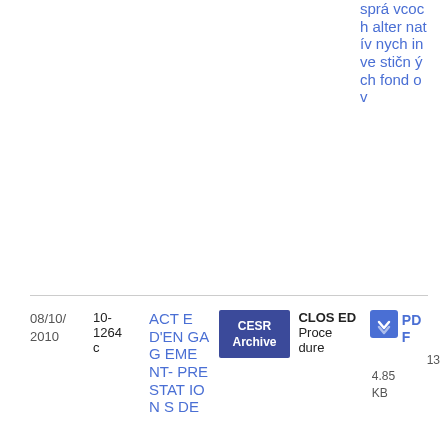správ vcoch alternatívnych investičných fondov
| Date | Ref | Title | Source | Status | Document |
| --- | --- | --- | --- | --- | --- |
| 08/10/2010 | 10-1264c | ACTE D'ENGAGEMENT-PRESTATION IONS DE... | CESR Archive | CLOSED Procedure | PDF 13 4.85 KB |